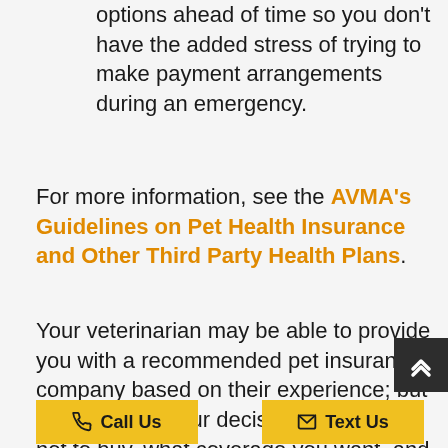options ahead of time so you don't have the added stress of trying to make payment arrangements during an emergency.
For more information, see the AVMA's Guidelines on Pet Health Insurance and Other Third Party Health Plans.
Your veterinarian may be able to provide you with a recommended pet insurance company based on their experience; but it's ultimately your decision whether or not to buy, what coverage you want, and from what company. There are websites to compare insurance…